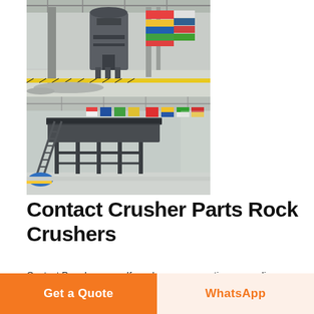[Figure (photo): Two industrial photos stacked vertically: top shows a large grey industrial crusher/mill machine inside a warehouse with flags and yellow safety striping; bottom shows industrial conveyor/screening equipment on metal supports inside a factory hall with international flags displayed.]
Contact Crusher Parts Rock Crushers
Contact Pure Leverage If you have any questions regarding our product please complete this no obligation form for information We will reply soon Your name Business listings of Stone Crusher manufacturers
Get a Quote
WhatsApp